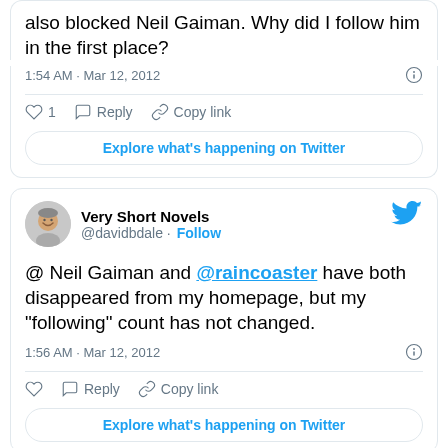also blocked Neil Gaiman. Why did I follow him in the first place?
1:54 AM · Mar 12, 2012
1  Reply  Copy link
Explore what's happening on Twitter
Very Short Novels @davidbdale · Follow
@ Neil Gaiman and @raincoaster have both disappeared from my homepage, but my "following" count has not changed.
1:56 AM · Mar 12, 2012
Reply  Copy link
Explore what's happening on Twitter